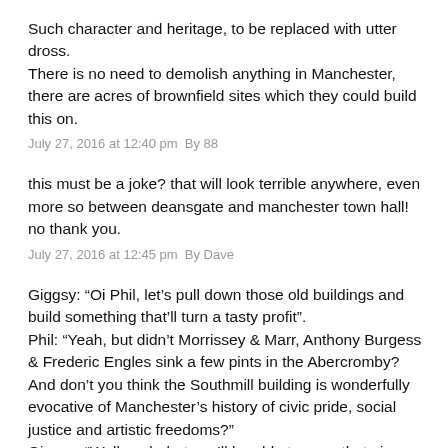Such character and heritage, to be replaced with utter dross.
There is no need to demolish anything in Manchester, there are acres of brownfield sites which they could build this on.
July 27, 2016 at 12:40 pm  By 88
this must be a joke? that will look terrible anywhere, even more so between deansgate and manchester town hall! no thank you.
July 27, 2016 at 12:45 pm  By Dave
Giggsy: “Oi Phil, let’s pull down those old buildings and build something that’ll turn a tasty profit”. Phil: “Yeah, but didn’t Morrissey & Marr, Anthony Burgess & Frederic Engles sink a few pints in the Abercromby? And don’t you think the Southmill building is wonderfully evocative of Manchester’s history of civic pride, social justice and artistic freedoms?”
Giggsy: “Well yeah, but you’ll be able to spec that nice